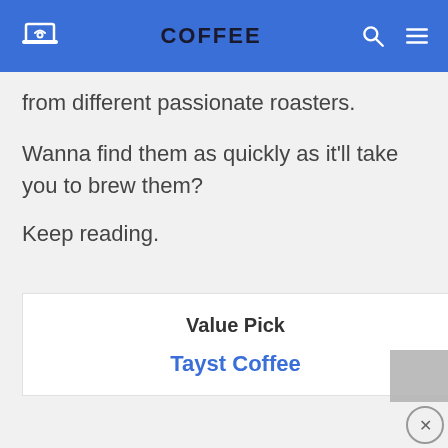COFFEE
from different passionate roasters.
Wanna find them as quickly as it'll take you to brew them?
Keep reading.
Value Pick
Tayst Coffee